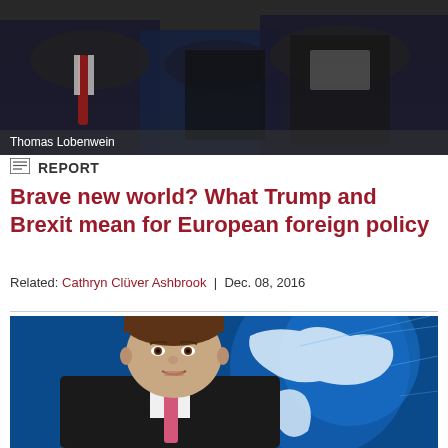[Figure (photo): Group of people seated at a conference or meeting, men in suits, one with a red tie visible]
Thomas Lobenwein
REPORT
Brave new world? What Trump and Brexit mean for European foreign policy
Related: Cathryn Clüver Ashbrook | Dec. 08, 2016
[Figure (photo): Man in suit with pink tie speaking, with a blue world map graphic in the background]